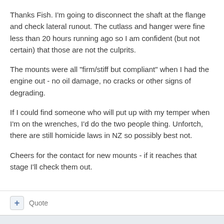Thanks Fish.  I'm going to disconnect the shaft at the flange and check lateral runout.  The cutlass and hanger were fine less than 20 hours running ago so I am confident (but not certain) that those are not the culprits.
The mounts were all "firm/stiff but compliant" when I had the engine out - no oil damage, no cracks or other signs of degrading.
If I could find someone who will put up with my temper when I'm on the wrenches, I'd do the two people thing.  Unfortch, there are still homicide laws in NZ so possibly best not.
Cheers for the contact for new mounts - if it reaches that stage I'll check them out.
+ Quote
barrytom  514